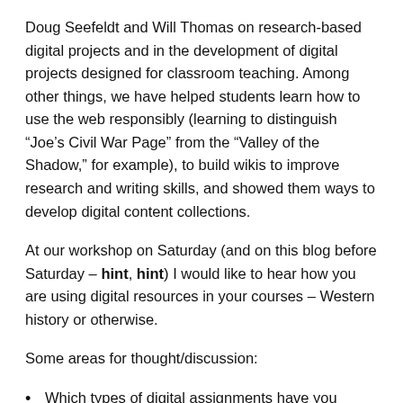Doug Seefeldt and Will Thomas on research-based digital projects and in the development of digital projects designed for classroom teaching. Among other things, we have helped students learn how to use the web responsibly (learning to distinguish “Joe’s Civil War Page” from the “Valley of the Shadow,” for example), to build wikis to improve research and writing skills, and showed them ways to develop digital content collections.
At our workshop on Saturday (and on this blog before Saturday – hint, hint) I would like to hear how you are using digital resources in your courses – Western history or otherwise.
Some areas for thought/discussion:
Which types of digital assignments have you found useful and why did they work well?